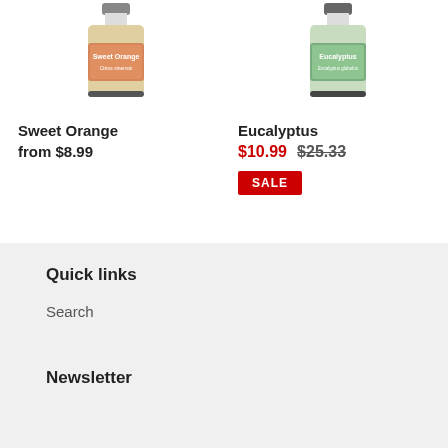[Figure (photo): Partial view of Sweet Orange essential oil bottle with orange label]
Sweet Orange
from $8.99
[Figure (photo): Partial view of Eucalyptus essential oil bottle with green label]
Eucalyptus
$10.99  $25.33
SALE
Quick links
Search
Newsletter